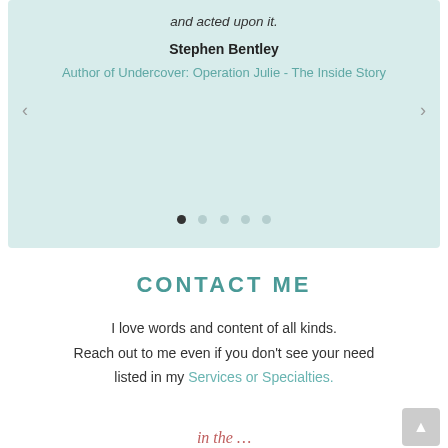and acted upon it.
Stephen Bentley
Author of Undercover: Operation Julie - The Inside Story
CONTACT ME
I love words and content of all kinds. Reach out to me even if you don't see your need listed in my Services or Specialties.
(partial text cut off at bottom)